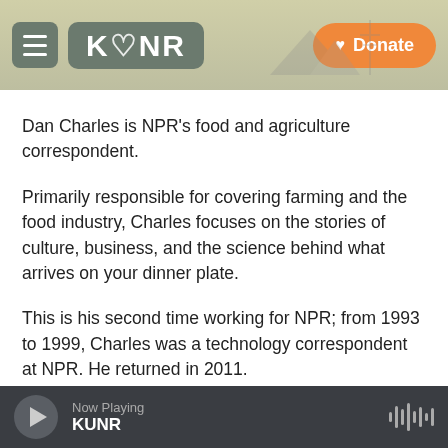[Figure (logo): KUNR Public Radio website header with hamburger menu, KUNR logo, and orange Donate button]
Dan Charles is NPR's food and agriculture correspondent.
Primarily responsible for covering farming and the food industry, Charles focuses on the stories of culture, business, and the science behind what arrives on your dinner plate.
This is his second time working for NPR; from 1993 to 1999, Charles was a technology correspondent at NPR. He returned in 2011.
During his time away from NPR, Charles was an independent writer and radio producer and occasionally filled in at NPR on the Science and National desks, and at
Now Playing  KUNR